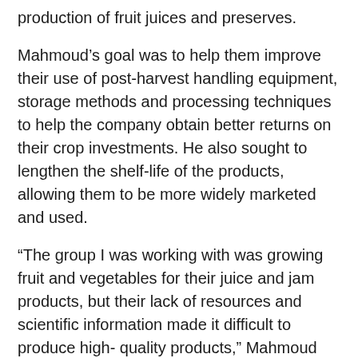production of fruit juices and preserves.
Mahmoud's goal was to help them improve their use of post-harvest handling equipment, storage methods and processing techniques to help the company obtain better returns on their crop investments. He also sought to lengthen the shelf-life of the products, allowing them to be more widely marketed and used.
“The group I was working with was growing fruit and vegetables for their juice and jam products, but their lack of resources and scientific information made it difficult to produce high- quality products,” Mahmoud said. “I taught them some fruit and vegetable pre-harvest and post-harvest techniques and some juice and jam production theories to help them improve their final products.”
For example, the Malawian workers did not have access to a refrigerated truck, increasing the risk of fruit spoilage en route from the fields to the processing